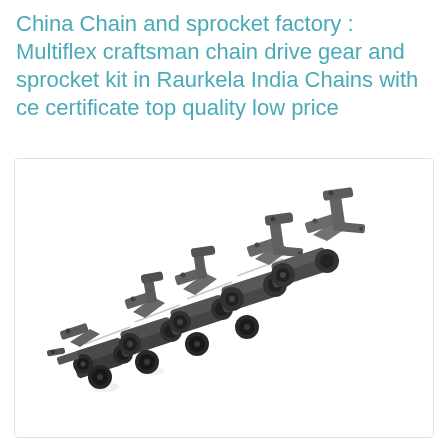China Chain and sprocket factory : Multiflex craftsman chain drive gear and sprocket kit in Raurkela India Chains with ce certificate top quality low price
[Figure (photo): Photograph of a metal roller chain with attachment links — a multi-link industrial drive chain with protruding bracket/attachment tabs on alternating links, cylindrical rollers visible at each joint, photographed at an angle against a white background.]